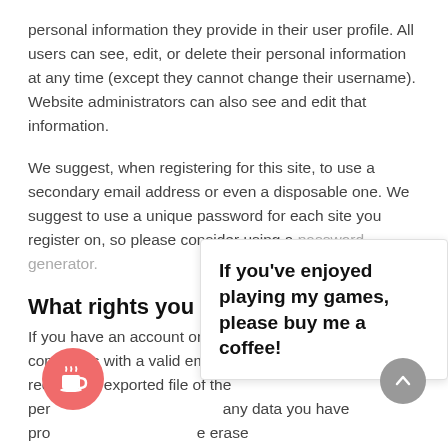personal information they provide in their user profile. All users can see, edit, or delete their personal information at any time (except they cannot change their username). Website administrators can also see and edit that information.
We suggest, when registering for this site, to use a secondary email address or even a disposable one. We suggest to use a unique password for each site you register on, so please consider using a password generator.
What rights you have over your data
If you have an account on this site, or have left comments with a valid email address, you can request to receive an exported file of the per… any data you have pro… e erase any personal… nclude any c… re c… or security purposes.
If you've enjoyed playing my games, please buy me a coffee!